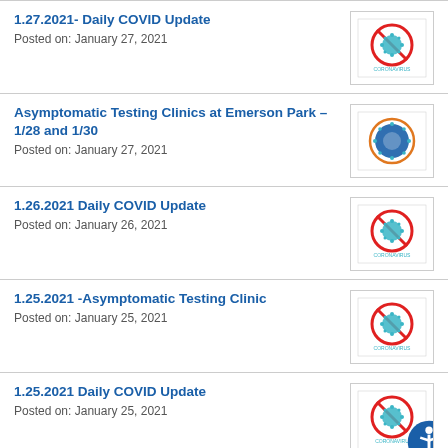1.27.2021- Daily COVID Update
Posted on: January 27, 2021
Asymptomatic Testing Clinics at Emerson Park – 1/28 and 1/30
Posted on: January 27, 2021
1.26.2021 Daily COVID Update
Posted on: January 26, 2021
1.25.2021 -Asymptomatic Testing Clinic
Posted on: January 25, 2021
1.25.2021 Daily COVID Update
Posted on: January 25, 2021